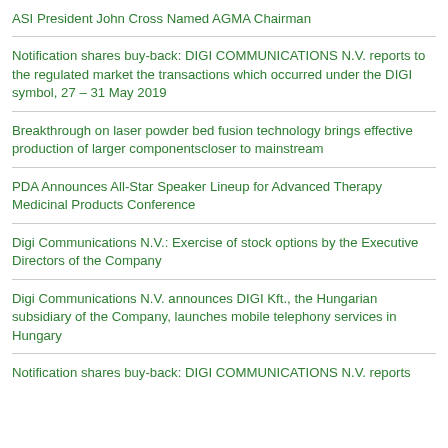ASI President John Cross Named AGMA Chairman
Notification shares buy-back: DIGI COMMUNICATIONS N.V. reports to the regulated market the transactions which occurred under the DIGI symbol, 27 – 31 May 2019
Breakthrough on laser powder bed fusion technology brings effective production of larger componentscloser to mainstream
PDA Announces All-Star Speaker Lineup for Advanced Therapy Medicinal Products Conference
Digi Communications N.V.: Exercise of stock options by the Executive Directors of the Company
Digi Communications N.V. announces DIGI Kft., the Hungarian subsidiary of the Company, launches mobile telephony services in Hungary
Notification shares buy-back: DIGI COMMUNICATIONS N.V. reports